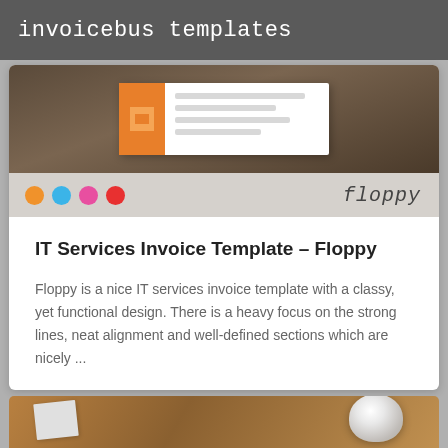invoicebus templates
[Figure (screenshot): Invoice template preview card for 'Floppy' IT services invoice, showing a mock invoice document on a wooden background, color swatches (orange, blue, pink, red) and the cursive label 'floppy']
IT Services Invoice Template – Floppy
Floppy is a nice IT services invoice template with a classy, yet functional design. There is a heavy focus on the strong lines, neat alignment and well-defined sections which are nicely ...
[Figure (screenshot): Partial preview image of another invoice template showing a coffee cup and a document on a wooden table]